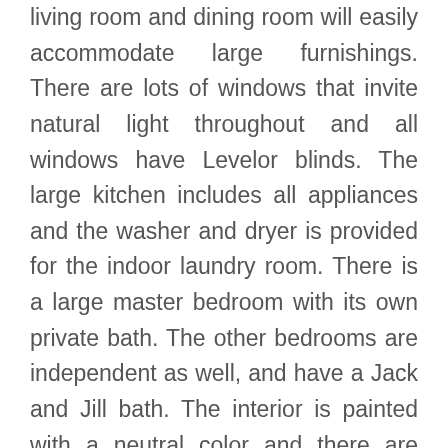living room and dining room will easily accommodate large furnishings. There are lots of windows that invite natural light throughout and all windows have Levelor blinds. The large kitchen includes all appliances and the washer and dryer is provided for the indoor laundry room. There is a large master bedroom with its own private bath. The other bedrooms are independent as well, and have a Jack and Jill bath. The interior is painted with a neutral color and there are ceiling fans and carpet throughout. The large fenced backyard is shared. There is off street parking for multiple cars. The lawn is maintained by the Lessor.